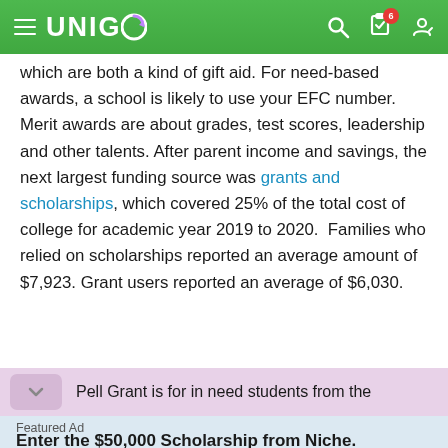UNIGO
which are both a kind of gift aid. For need-based awards, a school is likely to use your EFC number. Merit awards are about grades, test scores, leadership and other talents. After parent income and savings, the next largest funding source was grants and scholarships, which covered 25% of the total cost of college for academic year 2019 to 2020.  Families who relied on scholarships reported an average amount of $7,923. Grant users reported an average of $6,030.
Pell Grant is for in need students from the
Featured Ad
Enter the $50,000 Scholarship from Niche.
Last day to enter is August 31st
APPLY NOW!